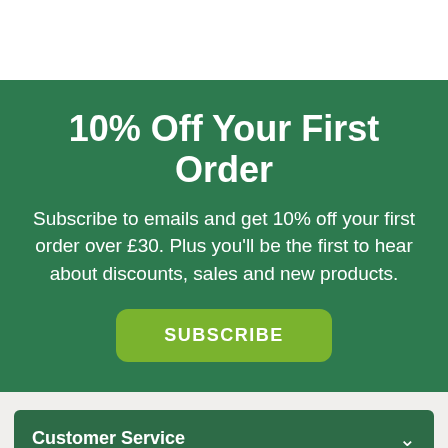10% Off Your First Order
Subscribe to emails and get 10% off your first order over £30. Plus you'll be the first to hear about discounts, sales and new products.
SUBSCRIBE
Customer Service
Company Information